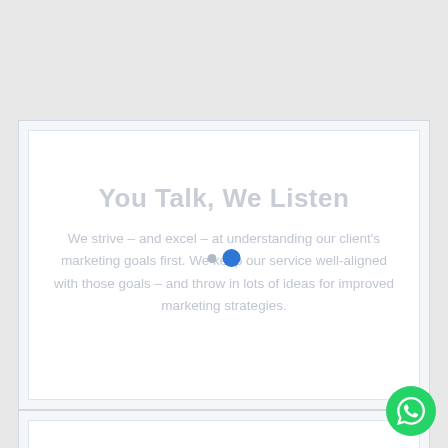You Talk, We Listen
We strive – and excel – at understanding our client's marketing goals first. We keep our service well-aligned with those goals – and throw in lots of ideas for improved marketing strategies.
We Value Integrity
We are honest professionals. All our implemented...